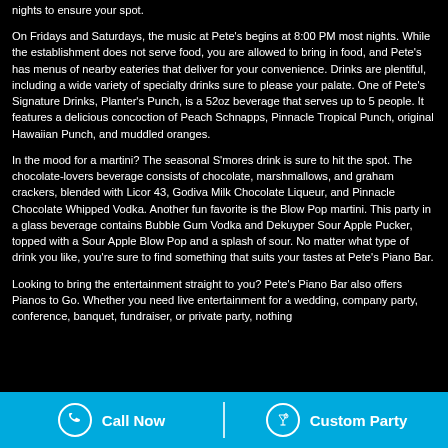nights to ensure your spot.
On Fridays and Saturdays, the music at Pete's begins at 8:00 PM most nights. While the establishment does not serve food, you are allowed to bring in food, and Pete's has menus of nearby eateries that deliver for your convenience. Drinks are plentiful, including a wide variety of specialty drinks sure to please your palate. One of Pete's Signature Drinks, Planter's Punch, is a 52oz beverage that serves up to 5 people. It features a delicious concoction of Peach Schnapps, Pinnacle Tropical Punch, original Hawaiian Punch, and muddled oranges.
In the mood for a martini? The seasonal S'mores drink is sure to hit the spot. The chocolate-lovers beverage consists of chocolate, marshmallows, and graham crackers, blended with Licor 43, Godiva Milk Chocolate Liqueur, and Pinnacle Chocolate Whipped Vodka. Another fun favorite is the Blow Pop martini. This party in a glass beverage contains Bubble Gum Vodka and Dekuyper Sour Apple Pucker, topped with a Sour Apple Blow Pop and a splash of sour. No matter what type of drink you like, you're sure to find something that suits your tastes at Pete's Piano Bar.
Looking to bring the entertainment straight to you? Pete's Piano Bar also offers Pianos to Go. Whether you need live entertainment for a wedding, company party, conference, banquet, fundraiser, or private party, nothing
Call Now    Custom Party